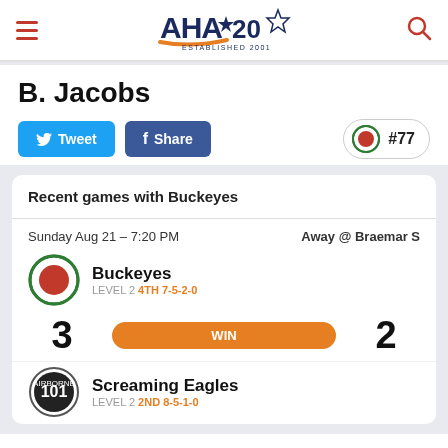[Figure (logo): AHA 20 hockey league logo with stars, established 2001]
B. Jacobs
Tweet | Share | #77
Recent games with Buckeyes
Sunday Aug 21 – 7:20 PM   Away @ Braemar S
Buckeyes LEVEL 2 4TH 7-5-2-0
3  WIN  2
Screaming Eagles LEVEL 2 2ND 8-5-1-0